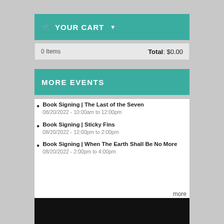YOUR CART
| 0 Items | Total: $0.00 |
| --- | --- |
MORE EVENTS
Book Signing | The Last of the Seven
08/20/2022 - 10:00am to 12:00pm
Book Signing | Sticky Fins
08/20/2022 - 12:00pm to 2:00pm
Book Signing | When The Earth Shall Be No More
08/20/2022 - 2:00pm to 4:00pm
more
SUPPORT  BOOKS